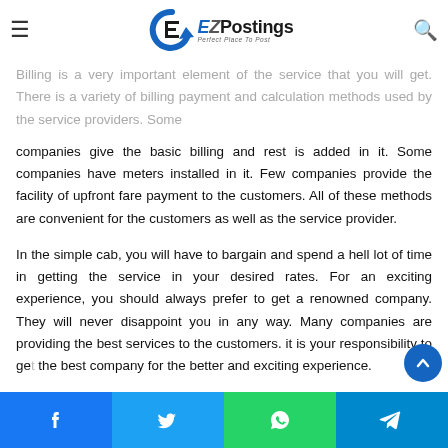EZPostings - Perfect Place To Post
Billing is a very important element of the service that you will get. There is a variety of billing payment and calculation methods used by the service providers. Some companies give the basic billing and rest is added in it. Some companies have meters installed in it. Few companies provide the facility of upfront fare payment to the customers. All of these methods are convenient for the customers as well as the service provider.
In the simple cab, you will have to bargain and spend a hell lot of time in getting the service in your desired rates. For an exciting experience, you should always prefer to get a renowned company. They will never disappoint you in any way. Many companies are providing the best services to the customers. it is your responsibility to get the best company for the better and exciting experience.
Social share buttons: Facebook, Twitter, WhatsApp, Telegram